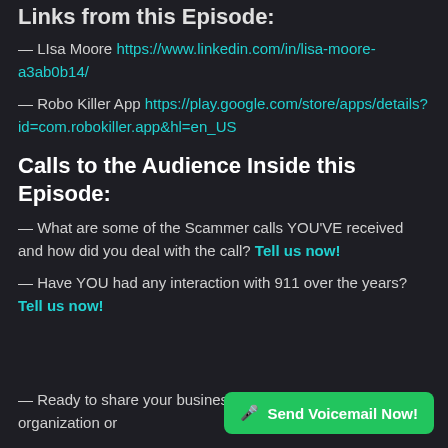Links from this Episode:
— LIsa Moore https://www.linkedin.com/in/lisa-moore-a3ab0b14/
— Robo Killer App https://play.google.com/store/apps/details?id=com.robokiller.app&hl=en_US
Calls to the Audience Inside this Episode:
— What are some of the Scammer calls YOU'VE received and how did you deal with the call? Tell us now!
— Have YOU had any interaction with 911 over the years? Tell us now!
— Ready to share your business, organization or